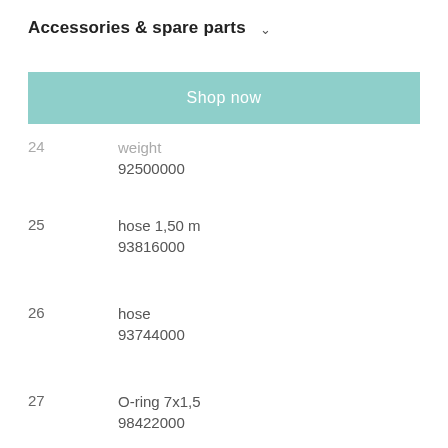Accessories & spare parts
Shop now
24	weigh
92500000
25	hose 1,50 m
93816000
26	hose
93744000
27	O-ring 7x1,5
98422000
28	connection hose 900 mm M8x0.75 G3/8